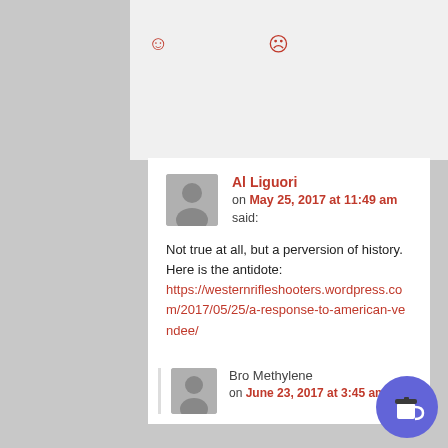[Figure (screenshot): Top reaction emoji row with smiley and frowny face icons in red]
Al Liguori on May 25, 2017 at 11:49 am said:
Not true at all, but a perversion of history. Here is the antidote: https://westernrifleshooters.wordpress.com/2017/05/25/a-response-to-american-vendee/
[Figure (screenshot): Bottom reaction emoji row with smiley and frowny face icons in red]
Bro Methylene on June 23, 2017 at 3:45 am said: